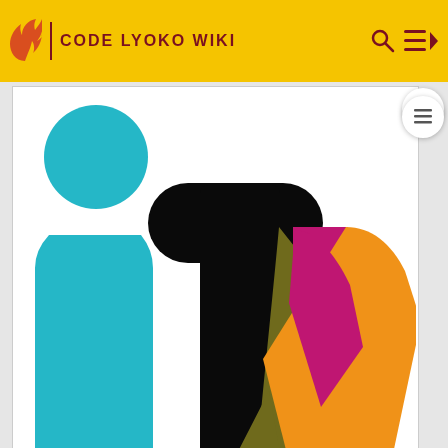CODE LYOKO WIKI
[Figure (logo): ITV logo with colorful overlapping letters 'itv' — teal 'i', black 't', overlapping 'v' shapes in olive/khaki, magenta/pink, and orange]
[Figure (logo): ITV4 logo in grey tones with text 'itv4' in rounded sans-serif font]
[Figure (logo): CITV logo partial view, orange rounded letters visible at the bottom of the page]